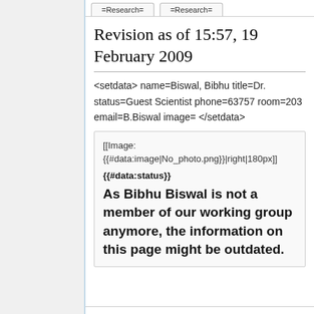=Research=
=Research=
Revision as of 15:57, 19 February 2009
<setdata> name=Biswal, Bibhu title=Dr. status=Guest Scientist phone=63757 room=203 email=B.Biswal image= </setdata>
[[Image: {{#data:image|No_photo.png}}|right|180px]]
{{#data:status}}
As Bibhu Biswal is not a member of our working group anymore, the information on this page might be outdated.